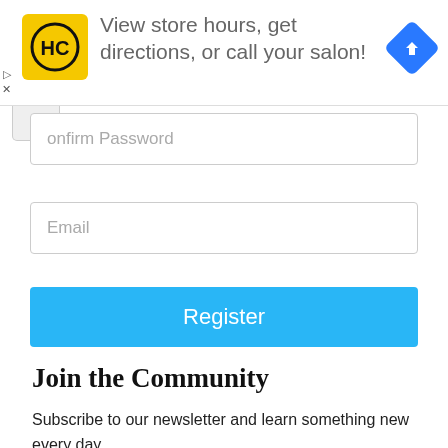[Figure (screenshot): Advertisement banner for a hair salon locator. Shows an HC (Hair Club) yellow logo on the left, the text 'View store hours, get directions, or call your salon!' in gray, and a blue navigation/directions diamond icon on the right. Small play and X controls appear on the far left edge.]
Confirm Password
Email
Register
Join the Community
Subscribe to our newsletter and learn something new every day.